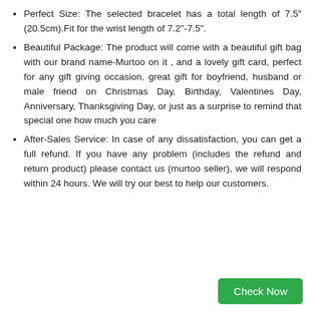Perfect Size: The selected bracelet has a total length of 7.5″ (20.5cm).Fit for the wrist length of 7.2"-7.5".
Beautiful Package: The product will come with a beautiful gift bag with our brand name-Murtoo on it , and a lovely gift card, perfect for any gift giving occasion, great gift for boyfriend, husband or male friend on Christmas Day, Birthday, Valentines Day, Anniversary, Thanksgiving Day, or just as a surprise to remind that special one how much you care
After-Sales Service: In case of any dissatisfaction, you can get a full refund. If you have any problem (includes the refund and return product) please contact us (murtoo seller), we will respond within 24 hours. We will try our best to help our customers.
Check Now